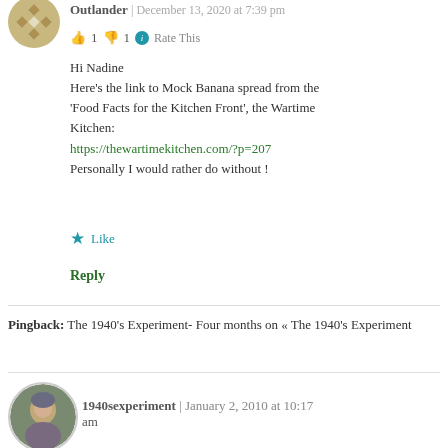Outlander | December 13, 2020 at 7:39 pm
👍 1 👎 1 ℹ Rate This
Hi Nadine
Here's the link to Mock Banana spread from the 'Food Facts for the Kitchen Front', the Wartime Kitchen:
https://thewartimekitchen.com/?p=207
Personally I would rather do without !
★ Like
Reply
Pingback: The 1940's Experiment- Four months on « The 1940's Experiment
1940sexperiment | January 2, 2010 at 10:17 am